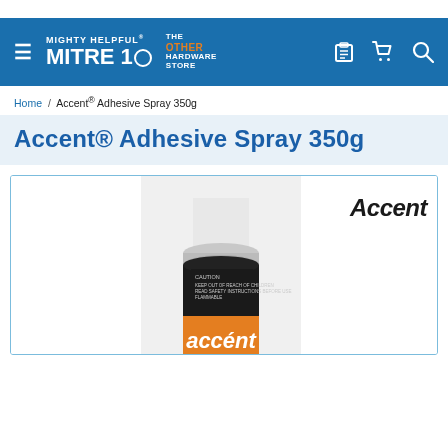MIGHTY HELPFUL MITRE 10 — THE OTHER HARDWARE STORE
Home / Accent® Adhesive Spray 350g
Accent® Adhesive Spray 350g
[Figure (photo): Photo of an Accent spray adhesive can (350g) with black and orange label reading 'accent SPRAY ADHESIVE', with caution text and a silver rim near the top. White cap on top. Shown inside a light-blue bordered product image box. 'Accent' brand name displayed in bold italic on the right side of the box.]